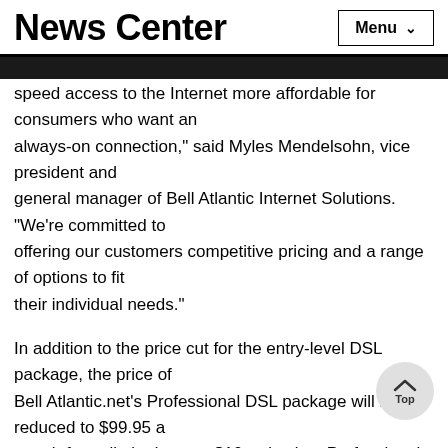News Center
speed access to the Internet more affordable for consumers who want an always-on connection," said Myles Mendelsohn, vice president and general manager of Bell Atlantic Internet Solutions. "We're committed to offering our customers competitive pricing and a range of options to fit their individual needs."
In addition to the price cut for the entry-level DSL package, the price of Bell Atlantic.net's Professional DSL package will be reduced to $99.95 a month for unlimited use, a $10 reduction. Professional Infospeed features speeds up to 1.6 megabits per second (Mbps) and Bell